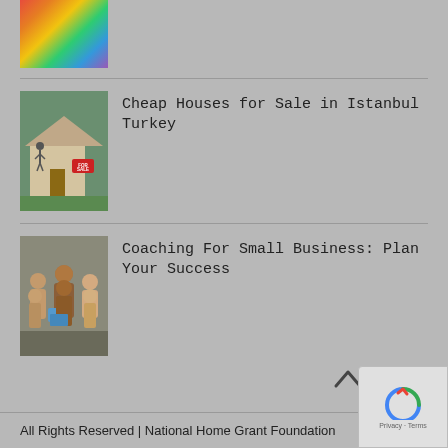[Figure (photo): Colorful decorative items or market stall, partially cropped at top]
[Figure (photo): House for sale with people standing outside, FOR SALE sign visible]
Cheap Houses for Sale in Istanbul Turkey
[Figure (photo): Group of people in a business coaching session]
Coaching For Small Business: Plan Your Success
All Rights Reserved | National Home Grant Foundation